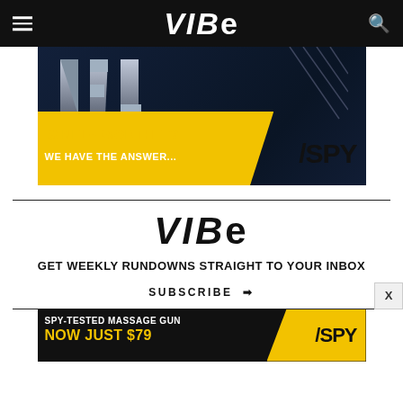VIBE
[Figure (advertisement): SPY advertisement: IS NFL+ WORTH IT? WE HAVE THE ANSWER... with NFL logo letters and SPY brand logo on yellow background]
VIBe
GET WEEKLY RUNDOWNS STRAIGHT TO YOUR INBOX
SUBSCRIBE →
[Figure (advertisement): SPY advertisement: SPY-TESTED MASSAGE GUN NOW JUST $79 with SPY logo on yellow and black background]